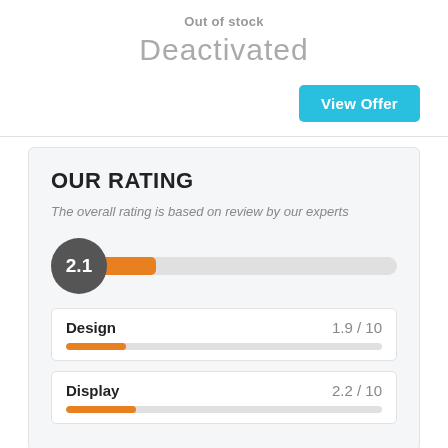Out of stock
Deactivated
View Offer
OUR RATING
The overall rating is based on review by our experts
[Figure (infographic): A circular badge showing rating 2.1 with an orange progress bar indicating 2.1 out of 10]
| Category | Score |
| --- | --- |
| Design | 1.9 / 10 |
| Display | 2.2 / 10 |